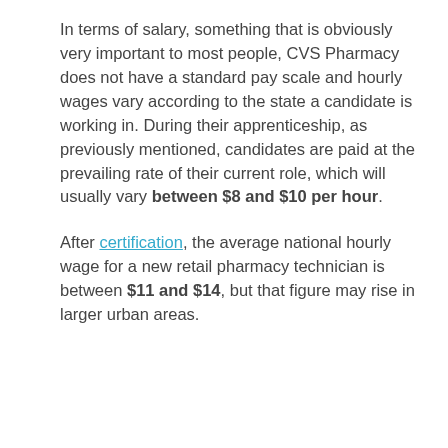In terms of salary, something that is obviously very important to most people, CVS Pharmacy does not have a standard pay scale and hourly wages vary according to the state a candidate is working in. During their apprenticeship, as previously mentioned, candidates are paid at the prevailing rate of their current role, which will usually vary between $8 and $10 per hour.
After certification, the average national hourly wage for a new retail pharmacy technician is between $11 and $14, but that figure may rise in larger urban areas.